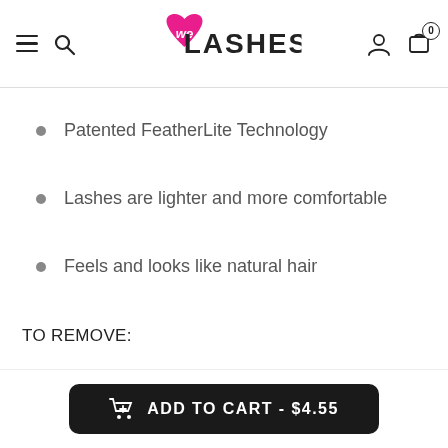We Lashes — navigation bar with hamburger menu, search, logo, user icon, cart (0)
Patented FeatherLite Technology
Lashes are lighter and more comfortable
Feels and looks like natural hair
TO REMOVE:
ADD TO CART - $4.55